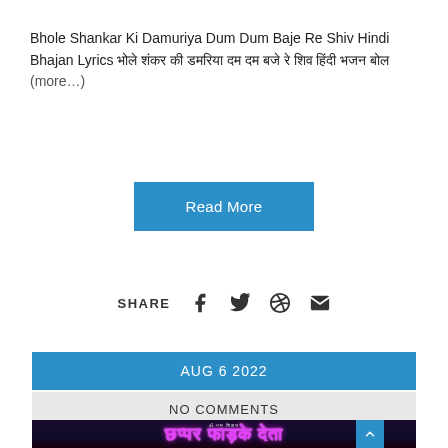Bhole Shankar Ki Damuriya Dum Dum Baje Re Shiv Hindi Bhajan Lyrics भोले शंकर की डमरिया दम दम बजे रे शिव हिंदी भजन बोल (more…)
Read More
SHARE
AUG 6 2022
NO COMMENTS
[Figure (photo): Thumbnail image with Hindi text 'छप्पर फाड़के देता' in pink/magenta neon font on dark background]